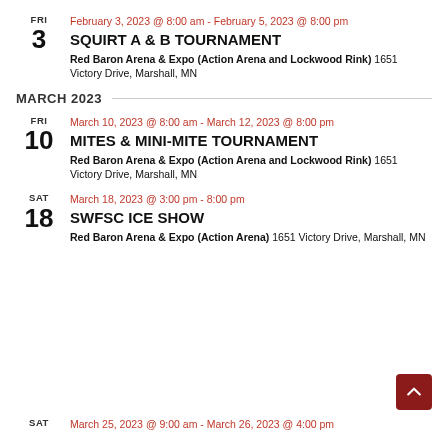FRI 3 | February 3, 2023 @ 8:00 am - February 5, 2023 @ 8:00 pm | SQUIRT A & B TOURNAMENT | Red Baron Arena & Expo (Action Arena and Lockwood Rink) 1651 Victory Drive, Marshall, MN
MARCH 2023
FRI 10 | March 10, 2023 @ 8:00 am - March 12, 2023 @ 8:00 pm | MITES & MINI-MITE TOURNAMENT | Red Baron Arena & Expo (Action Arena and Lockwood Rink) 1651 Victory Drive, Marshall, MN
SAT 18 | March 18, 2023 @ 3:00 pm - 8:00 pm | SWFSC ICE SHOW | Red Baron Arena & Expo (Action Arena) 1651 Victory Drive, Marshall, MN
SAT | March 25, 2023 @ 9:00 am - March 26, 2023 @ 4:00 pm